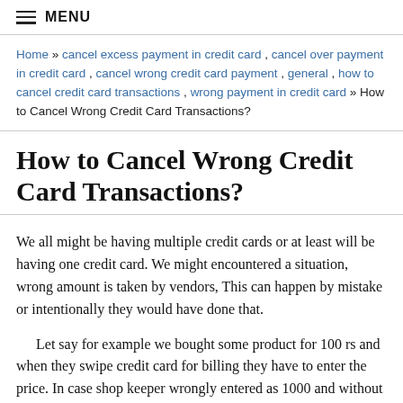MENU
Home » cancel excess payment in credit card , cancel over payment in credit card , cancel wrong credit card payment , general , how to cancel credit card transactions , wrong payment in credit card » How to Cancel Wrong Credit Card Transactions?
How to Cancel Wrong Credit Card Transactions?
We all might be having multiple credit cards or at least will be having one credit card. We might encountered a situation, wrong amount is taken by vendors, This can happen by mistake or intentionally they would have done that.
Let say for example we bought some product for 100 rs and when they swipe credit card for billing they have to enter the price. In case shop keeper wrongly entered as 1000 and without seeing the